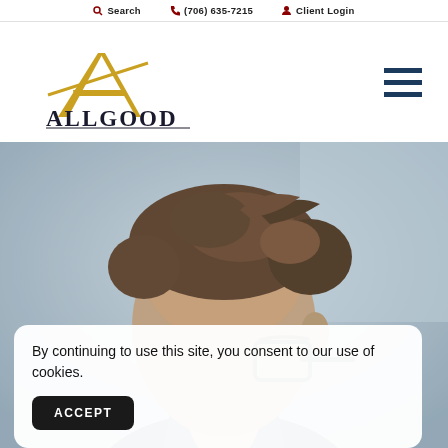Search   (706) 635-7215   Client Login
[Figure (logo): Allgood Financial Advisory logo — stylized gold/yellow letter A with crossing lines, above text 'ALLGOOD FINANCIAL ADVISORY' in dark serif font]
[Figure (photo): Close-up photo of a man with curly brown hair wearing glasses, blurred background, hero image on financial advisory website]
By continuing to use this site, you consent to our use of cookies.
ACCEPT